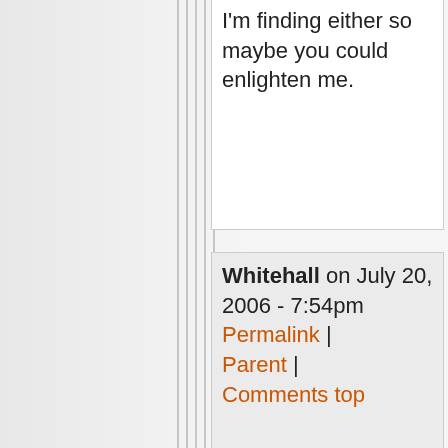I'm finding either so maybe you could enlighten me.
Whitehall on July 20, 2006 - 7:54pm Permalink | Parent | Comments top
All you have to know about thorium deposits - "Black Sand"

Black sand is widely deposited.  The mineral of